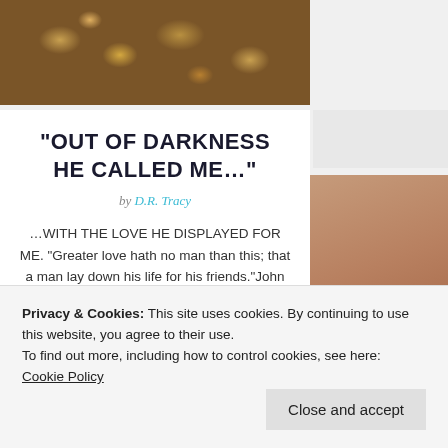[Figure (photo): Close-up photo of pine cones or golden autumn leaves with dark brown earthy tones]
[Figure (photo): Right side portrait photo of a lone bare tree in a reddish-brown misty landscape with a figure]
“OUT OF DARKNESS HE CALLED ME…”
by D.R. Tracy
…WITH THE LOVE HE DISPLAYED FOR ME. “Greater love hath no man than this; that a man lay down his life for his friends.”John 15:13. My family in Christ…Believers…, can you imagine what…
Continue reading →
Privacy & Cookies: This site uses cookies. By continuing to use this website, you agree to their use.
To find out more, including how to control cookies, see here: Cookie Policy
Close and accept